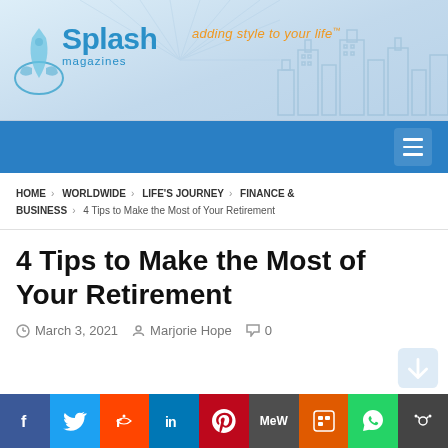[Figure (logo): Splash Magazines logo with tagline 'adding style to your life' and city skyline illustration on blue/white gradient banner]
Navigation bar with hamburger menu icon
HOME > WORLDWIDE > LIFE'S JOURNEY > FINANCE & BUSINESS > 4 Tips to Make the Most of Your Retirement
4 Tips to Make the Most of Your Retirement
March 3, 2021   Marjorie Hope   0
[Figure (infographic): Social media sharing bar with Facebook, Twitter, Reddit, LinkedIn, Pinterest, MeWe, Mix, WhatsApp, and Share icons]